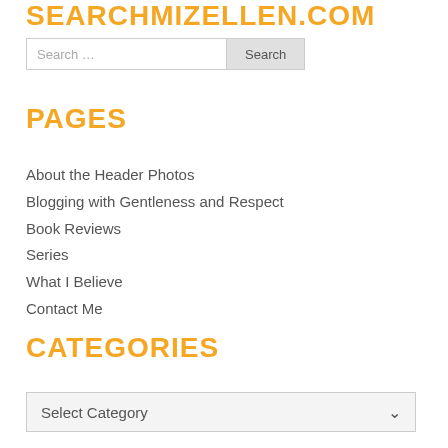SEARCHMIZELLEN.COM
Search …
PAGES
About the Header Photos
Blogging with Gentleness and Respect
Book Reviews
Series
What I Believe
Contact Me
CATEGORIES
Select Category